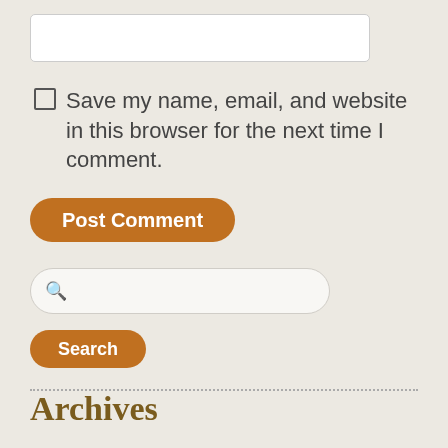[Figure (screenshot): Text input field (white rounded rectangle)]
Save my name, email, and website in this browser for the next time I comment.
[Figure (screenshot): Post Comment button (orange rounded rectangle)]
[Figure (screenshot): Search input field with search icon]
[Figure (screenshot): Search button (orange rounded rectangle)]
Archives
[Figure (screenshot): Select Month dropdown]
Categories
Blog